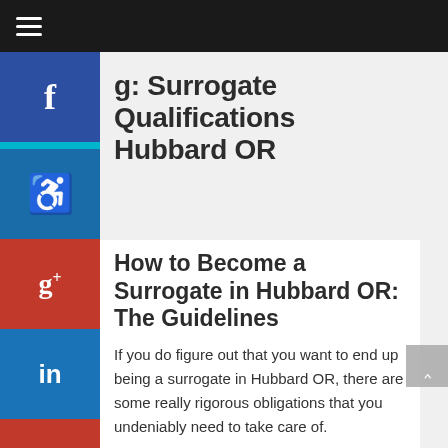≡
g: Surrogate Qualifications
bard OR
How to Become a Surrogate in Hubbard OR: The Guidelines
If you do figure out that you want to end up being a surrogate in Hubbard OR, there are some really rigorous obligations that you undeniably need to take care of.